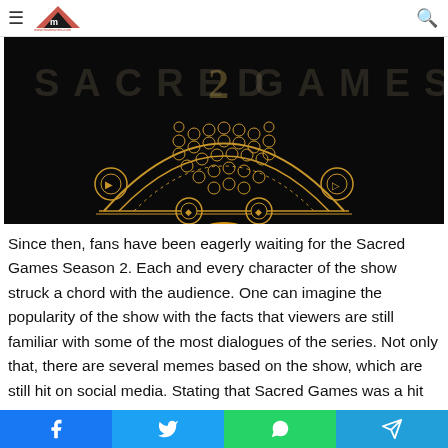fastmantra.com logo and navigation
[Figure (photo): Sacred Games Season 2 promotional banner — dark background with gold ornamental design depicting a decorative semi-circular mandala/necklace pattern on black background. Text 'SACRED 2 GAMES' visible in background watermark.]
Since then, fans have been eagerly waiting for the Sacred Games Season 2. Each and every character of the show struck a chord with the audience. One can imagine the popularity of the show with the facts that viewers are still familiar with some of the most dialogues of the series. Not only that, there are several memes based on the show, which are still hit on social media. Stating that Sacred Games was a hit
Social share buttons: Facebook, Twitter, WhatsApp, Telegram